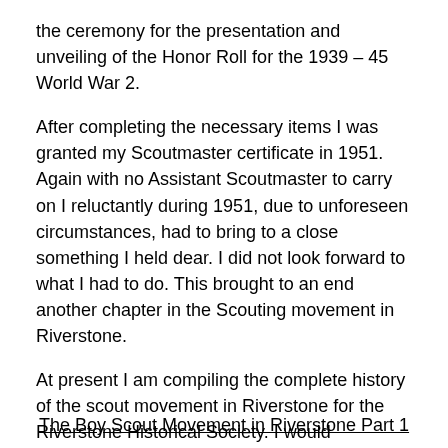the ceremony for the presentation and unveiling of the Honor Roll for the 1939 – 45 World War 2.
After completing the necessary items I was granted my Scoutmaster certificate in 1951. Again with no Assistant Scoutmaster to carry on I reluctantly during 1951, due to unforeseen circumstances, had to bring to a close something I held dear. I did not look forward to what I had to do. This brought to an end another chapter in the Scouting movement in Riverstone.
At present I am compiling the complete history of the scout movement in Riverstone for the Riverstone Historical Society. I would appreciate any input to the scout movement however small, especially old photos. E.B. 02 9627 1846.
The Boy Scout Movement in Riverstone Part 1